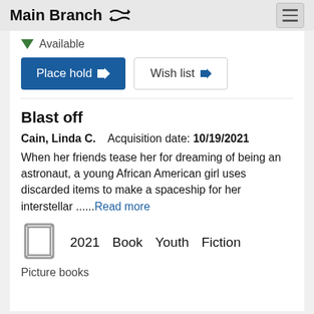Main Branch
Available
Place hold
Wish list
Blast off
Cain, Linda C.    Acquisition date: 10/19/2021
When her friends tease her for dreaming of being an astronaut, a young African American girl uses discarded items to make a spaceship for her interstellar ......Read more
2021   Book   Youth   Fiction
Picture books